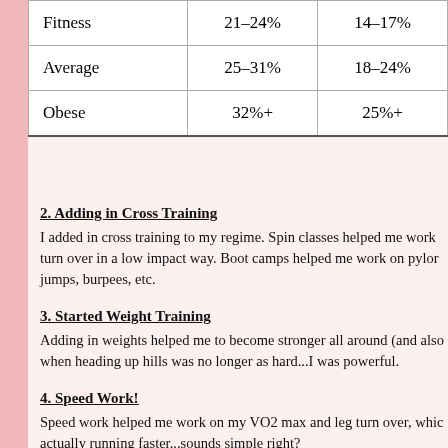|  |  |  |
| --- | --- | --- |
| Fitness | 21–24% | 14–17% |
| Average | 25–31% | 18–24% |
| Obese | 32%+ | 25%+ |
2.  Adding in Cross Training
I added in cross training to my regime.  Spin classes helped me work turn over in a low impact way.  Boot camps helped me work on pylor jumps, burpees, etc.
3.  Started Weight Training
Adding in weights helped me to become stronger all around (and also when heading up hills was no longer as hard...I was powerful.
4.  Speed Work!
Speed work helped me work on my VO2 max and leg turn over, whic actually running faster...sounds simple right?